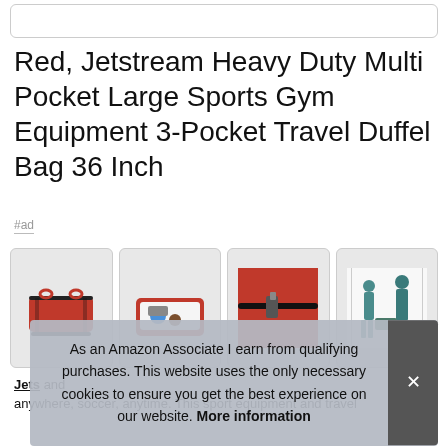[Figure (screenshot): Top navigation/search bar placeholder]
Red, Jetstream Heavy Duty Multi Pocket Large Sports Gym Equipment 3-Pocket Travel Duffel Bag 36 Inch
#ad
[Figure (photo): Four product thumbnail images of a red duffel bag]
Jetstream [brand link] and [text] anywhere, soccer, anytime. This sport equipment and travel
As an Amazon Associate I earn from qualifying purchases. This website uses the only necessary cookies to ensure you get the best experience on our website. More information